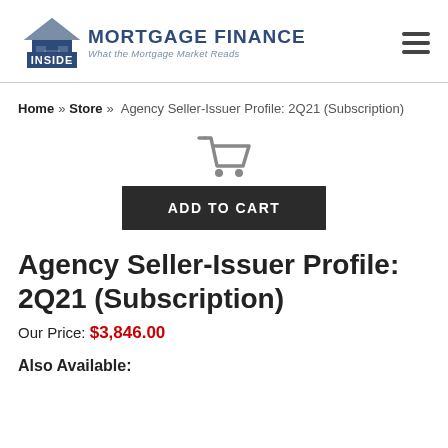[Figure (logo): Inside Mortgage Finance logo with house icon and tagline 'What the Mortgage Market Reads']
Home » Store » Agency Seller-Issuer Profile: 2Q21 (Subscription)
[Figure (illustration): Shopping cart icon]
ADD TO CART
Agency Seller-Issuer Profile: 2Q21 (Subscription)
Our Price: $3,846.00
Also Available: